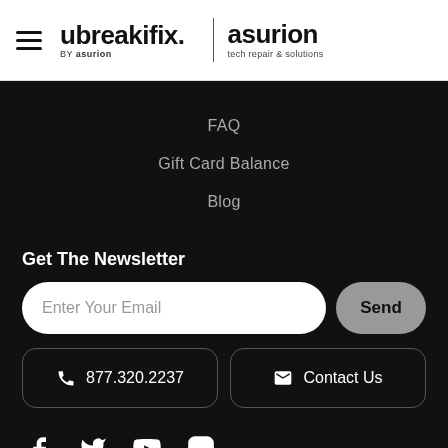[Figure (logo): ubreakifix by asurion logo and asurion tech repair & solutions logo in header]
FAQ
Gift Card Balance
Blog
Get The Newsletter
Enter Your Email
Send
877.320.2237
Contact Us
[Figure (illustration): Social media icons: Facebook, Twitter, YouTube, Instagram]